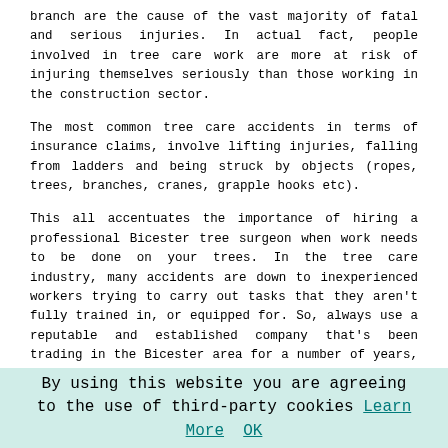branch are the cause of the vast majority of fatal and serious injuries. In actual fact, people involved in tree care work are more at risk of injuring themselves seriously than those working in the construction sector.
The most common tree care accidents in terms of insurance claims, involve lifting injuries, falling from ladders and being struck by objects (ropes, trees, branches, cranes, grapple hooks etc).
This all accentuates the importance of hiring a professional Bicester tree surgeon when work needs to be done on your trees. In the tree care industry, many accidents are down to inexperienced workers trying to carry out tasks that they aren't fully trained in, or equipped for. So, always use a reputable and established company that's been trading in the Bicester area for a number of years, to sidestep this kind of issue.
Cable Bracing Trees Bicester
A procedure that's used to provide support for a tree when it has signs of decay or damage or is a risk to nearby property or persons, cable bracing can be very helpful in
By using this website you are agreeing to the use of third-party cookies Learn More  OK